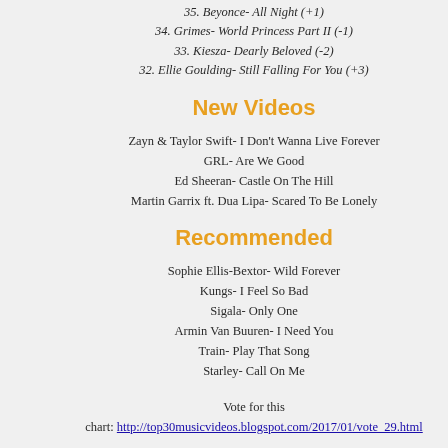35. Beyonce- All Night (+1)
34. Grimes- World Princess Part II (-1)
33. Kiesza- Dearly Beloved (-2)
32. Ellie Goulding- Still Falling For You (+3)
New Videos
Zayn & Taylor Swift- I Don't Wanna Live Forever
GRL- Are We Good
Ed Sheeran- Castle On The Hill
Martin Garrix ft. Dua Lipa- Scared To Be Lonely
Recommended
Sophie Ellis-Bextor- Wild Forever
Kungs- I Feel So Bad
Sigala- Only One
Armin Van Buuren- I Need You
Train- Play That Song
Starley- Call On Me
Vote for this chart: http://top30musicvideos.blogspot.com/2017/01/vote_29.html